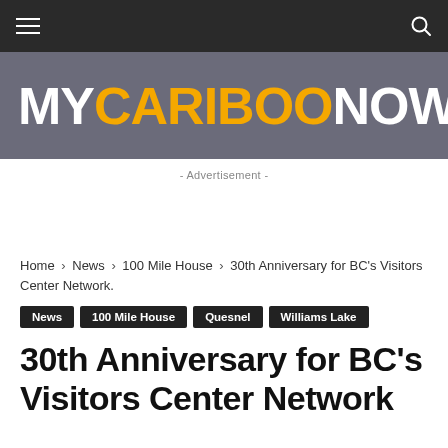MyCaribooNow
[Figure (logo): MyCaribooNow logo on grey background — MY in white, CARIBOO in orange, NOW in white, bold sans-serif]
- Advertisement -
Home › News › 100 Mile House › 30th Anniversary for BC's Visitors Center Network.
News
100 Mile House
Quesnel
Williams Lake
30th Anniversary for BC's Visitors Center Network